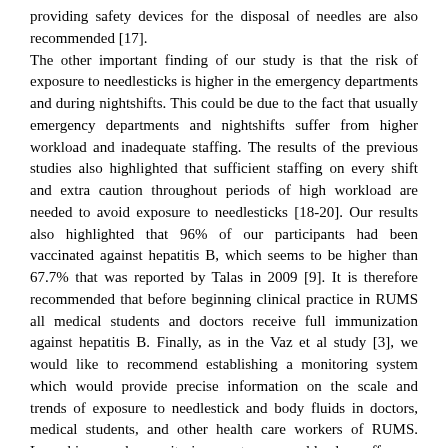providing safety devices for the disposal of needles are also recommended [17]. The other important finding of our study is that the risk of exposure to needlesticks is higher in the emergency departments and during nightshifts. This could be due to the fact that usually emergency departments and nightshifts suffer from higher workload and inadequate staffing. The results of the previous studies also highlighted that sufficient staffing on every shift and extra caution throughout periods of high workload are needed to avoid exposure to needlesticks [18-20]. Our results also highlighted that 96% of our participants had been vaccinated against hepatitis B, which seems to be higher than 67.7% that was reported by Talas in 2009 [9]. It is therefore recommended that before beginning clinical practice in RUMS all medical students and doctors receive full immunization against hepatitis B. Finally, as in the Vaz et al study [3], we would like to recommend establishing a monitoring system which would provide precise information on the scale and trends of exposure to needlestick and body fluids in doctors, medical students, and other health care workers of RUMS. Launching such monitoring systems would also offer an environment for implementing the effective intervention.
Conclusion
Occupational exposures to needlestick injuries and body fluids among doctors and medical students in RUMS have occurred with a relatively high lifetime incidence. Improving medical curricula, conducting along the...